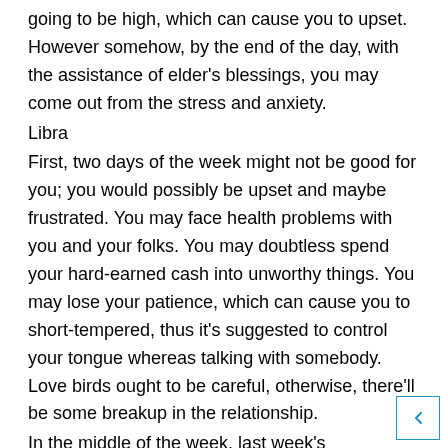going to be high, which can cause you to upset. However somehow, by the end of the day, with the assistance of elder's blessings, you may come out from the stress and anxiety.
Libra
First, two days of the week might not be good for you; you would possibly be upset and maybe frustrated. You may face health problems with you and your folks. You may doubtless spend your hard-earned cash into unworthy things. You may lose your patience, which can cause you to short-tempered, thus it's suggested to control your tongue whereas talking with somebody. Love birds ought to be careful, otherwise, there'll be some breakup in the relationship.
In the middle of the week, last week's disappointment ca...